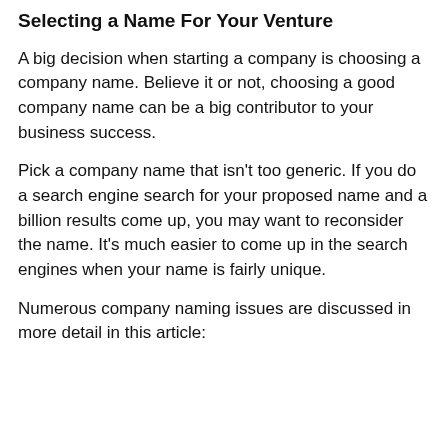Selecting a Name For Your Venture
A big decision when starting a company is choosing a company name. Believe it or not, choosing a good company name can be a big contributor to your business success.
Pick a company name that isn't too generic. If you do a search engine search for your proposed name and a billion results come up, you may want to reconsider the name. It's much easier to come up in the search engines when your name is fairly unique.
Numerous company naming issues are discussed in more detail in this article: